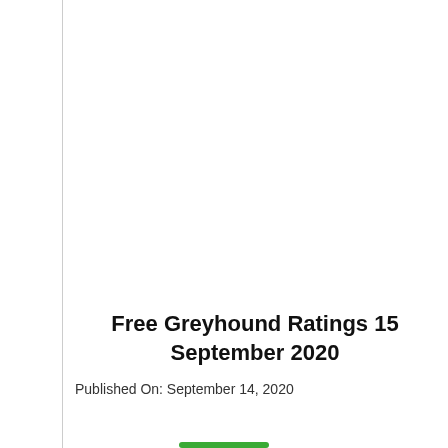Free Greyhound Ratings 15 September 2020
Published On: September 14, 2020